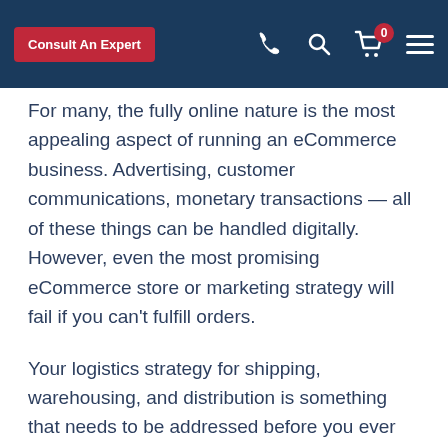Consult An Expert | [phone icon] | [search icon] | [cart: 0] | [menu]
For many, the fully online nature is the most appealing aspect of running an eCommerce business. Advertising, customer communications, monetary transactions — all of these things can be handled digitally. However, even the most promising eCommerce store or marketing strategy will fail if you can't fulfill orders.
Your logistics strategy for shipping, warehousing, and distribution is something that needs to be addressed before you ever get customers. In the eCommerce industry, selling products might be the simplest part. Making sure that your product can get into your customer's hands is another challenge to conquer.
Attempting to personally coordinate the hiring of a shipping company, rental of a storage facility, and